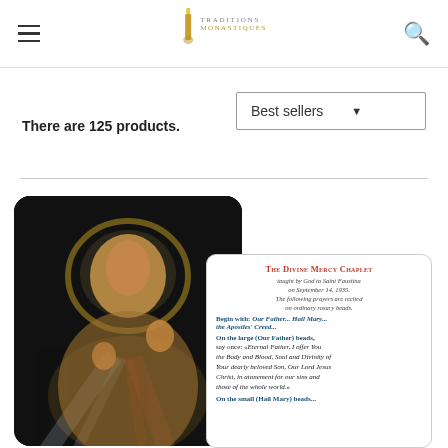Traditions Monastiques
There are 125 products.
Best sellers
[Figure (photo): Religious product listing page screenshot showing a Divine Mercy image of Jesus Christ and a Divine Mercy Chaplet prayer card side by side]
THE DIVINE MERCY CHAPLET taught by God to Saint Faustina on September 14, 1935. The following prayers are recited on ordinary rosary beads. Begin with: Our Father... Hail Mary... the Apostles' Creed... On the large (Our Father) beads, say once: «Eternal Father, I offer You the Body and Blood, Soul and Divinity of Your dearly beloved Son, Our Lord Jesus Christ, in atonement for our sins and those of the whole world.» On the small (Hail Mary) beads...